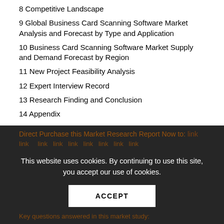8 Competitive Landscape
9 Global Business Card Scanning Software Market Analysis and Forecast by Type and Application
10 Business Card Scanning Software Market Supply and Demand Forecast by Region
11 New Project Feasibility Analysis
12 Expert Interview Record
13 Research Finding and Conclusion
14 Appendix
This website uses cookies. By continuing to use this site, you accept our use of cookies.
ACCEPT